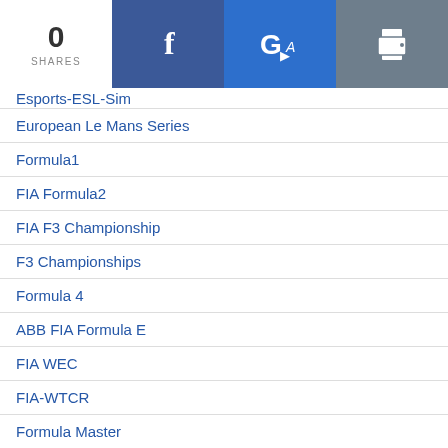0 SHARES
Esports-ESL-Sim
European Le Mans Series
Formula1
FIA Formula2
FIA F3 Championship
F3 Championships
Formula 4
ABB FIA Formula E
FIA WEC
FIA-WTCR
Formula Master
Formula Renault 1.6
Formula Renault / Regional
Formula Renault 3.5 V8
FFSA
GP Masters
GT Series